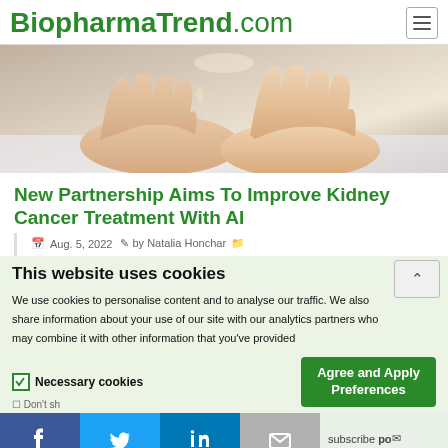BiopharmaTrend.com
[Figure (photo): Close-up photograph of hands cupped together, suggesting care or holding something, with soft background.]
New Partnership Aims To Improve Kidney Cancer Treatment With AI
Aug. 5, 2022  by Natalia Honchar
This website uses cookies
We use cookies to personalise content and to analyse our traffic. We also share information about your use of our site with our analytics partners who may combine it with other information that you've provided
Necessary cookies
Agree and Apply Preferences
Don't show again   Subscribe   pop up